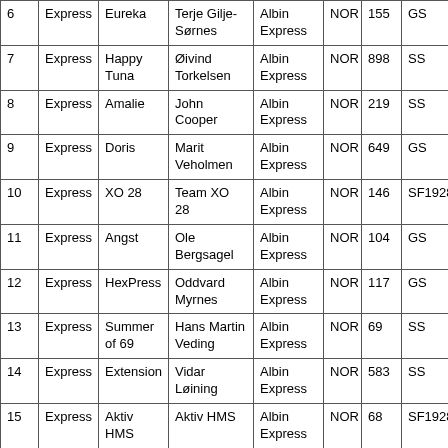| 6 | Express | Eureka | Terje Gilje-Sørnes | Albin Express | NOR | 155 | GS |
| 7 | Express | Happy Tuna | Øivind Torkelsen | Albin Express | NOR | 898 | SS |
| 8 | Express | Amalie | John Cooper | Albin Express | NOR | 219 | SS |
| 9 | Express | Doris | Marit Veholmen | Albin Express | NOR | 649 | GS |
| 10 | Express | XO 28 | Team XO 28 | Albin Express | NOR | 146 | SF1928 |
| 11 | Express | Angst | Ole Bergsagel | Albin Express | NOR | 104 | GS |
| 12 | Express | HexPress | Oddvard Myrnes | Albin Express | NOR | 117 | GS |
| 13 | Express | Summer of 69 | Hans Martin Veding | Albin Express | NOR | 69 | SS |
| 14 | Express | Extension | Vidar Løining | Albin Express | NOR | 583 | SS |
| 15 | Express | Aktiv HMS | Aktiv HMS | Albin Express | NOR | 68 | SF1928 |
| 16 | Express | X-iL | Kolbjørn Skjæveland | Albin Express | NOR | 343 | SS |